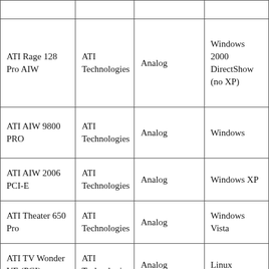| ATI Rage 128 Pro AIW | ATI Technologies | Analog | Windows 2000 DirectShow (no XP) |
| ATI AIW 9800 PRO | ATI Technologies | Analog | Windows |
| ATI AIW 2006 PCI-E | ATI Technologies | Analog | Windows XP |
| ATI Theater 650 Pro | ATI Technologies | Analog | Windows Vista |
| ATI TV Wonder VE (PCI) | ATI Technologies | Analog | Linux |
| Winfast TV2000/Expert | Leadtek | Analog Tuner/S-video/Composite | Windows XP Pr… |
|  |  |  | Windows |